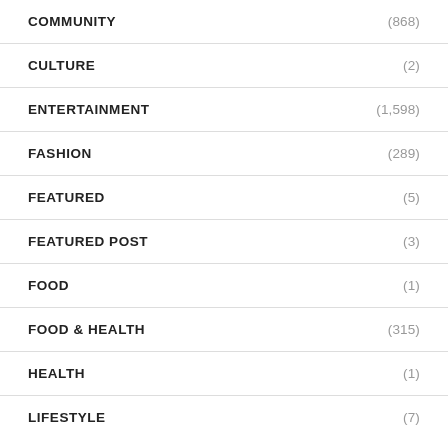COMMUNITY (868)
CULTURE (2)
ENTERTAINMENT (1,598)
FASHION (289)
FEATURED (5)
FEATURED POST (3)
FOOD (1)
FOOD & HEALTH (315)
HEALTH (1)
LIFESTYLE (7)